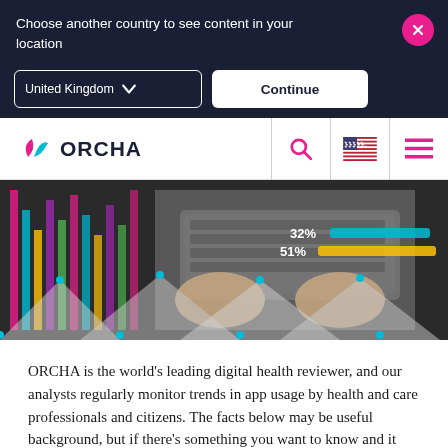Choose another country to see content in your location
[Figure (screenshot): Country selector dropdown showing 'United Kingdom' with chevron, and a 'Continue' button, on dark navy background]
[Figure (logo): ORCHA logo with stylized pink and teal leaf icon followed by 'ORCHA' text in dark navy, with search icon, US flag icon, and hamburger menu icon in navigation bar]
[Figure (photo): Overhead view of hands typing on a laptop keyboard on a dark surface with colorful data visualization graphics showing percentages 32% and 51%]
ORCHA is the world's leading digital health reviewer, and our analysts regularly monitor trends in app usage by health and care professionals and citizens. The facts below may be useful background, but if there's something you want to know and it isn't listed, just ask us.